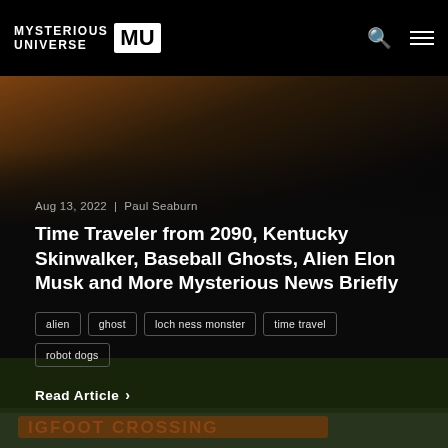MYSTERIOUS UNIVERSE MU
[Figure (photo): Dark moody photo of a silhouetted figure in a hat standing in a tunnel with warm glowing light behind]
Aug 13, 2022  |  Paul Seaburn
Time Traveler from 2090, Kentucky Skinwalker, Baseball Ghosts, Alien Elon Musk and More Mysterious News Briefly
alien
ghost
loch ness monster
time travel
robot dogs
Read Article ›
[Figure (photo): Outdoor photo showing a wooden sign with 'BIGFOOT CROSSING' painted on it, with forest and water in background]